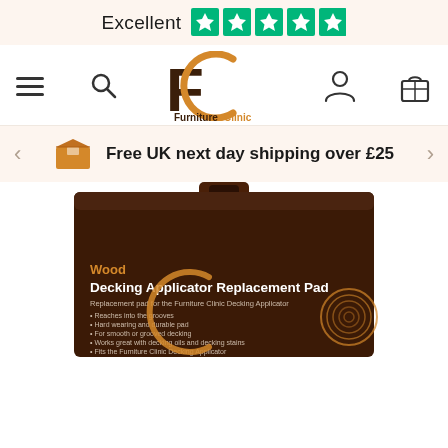Excellent ★★★★★ (Trustpilot)
[Figure (logo): Furniture Clinic logo: stylized FC letters with brown F and golden C arc, text FurnitureClinic below]
Free UK next day shipping over £25
[Figure (photo): Product package: Wood Decking Applicator Replacement Pad by Furniture Clinic. Dark brown box with gold/orange text. Package text: Replacement pad for the Furniture Clinic Decking Applicator. Bullet points: Reaches into the grooves, Hard wearing and durable pad, For smooth or grooved decking, Works great with decking oils and decking stains, Fits the Furniture Clinic Decking Applicator.]